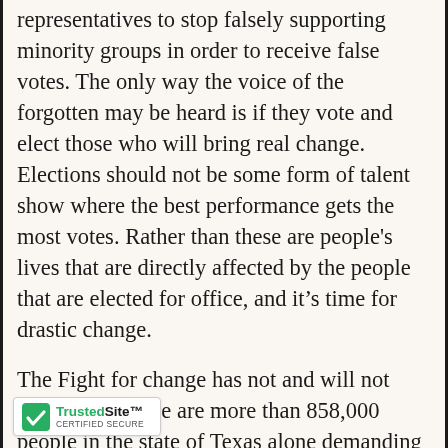representatives to stop falsely supporting minority groups in order to receive false votes. The only way the voice of the forgotten may be heard is if they vote and elect those who will bring real change. Elections should not be some form of talent show where the best performance gets the most votes. Rather than these are people's lives that are directly affected by the people that are elected for office, and it's time for drastic change.
The Fight for change has not and will not slow down, there are more than 858,000 people in the state of Texas alone demanding change and compensation for unjust laws and regulations. Currently, there are no pending legislations in [nment level since this issue is not 'real' issue and thus is heavily
[Figure (logo): TrustedSite CERTIFIED SECURE badge with green checkmark]